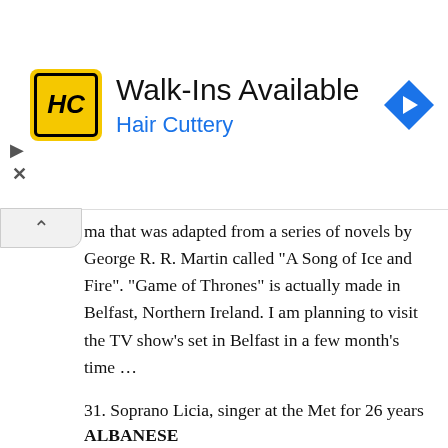[Figure (other): Hair Cuttery advertisement banner with yellow HC logo, Walk-Ins Available headline, Hair Cuttery subtitle in blue, and a blue navigation/maps icon on the right]
ma that was adapted from a series of novels by George R. R. Martin called “A Song of Ice and Fire”. “Game of Thrones” is actually made in Belfast, Northern Ireland. I am planning to visit the TV show’s set in Belfast in a few month’s time …
31. Soprano Licia, singer at the Met for 26 years
ALBANESE
Licia Albanese was an Italian-American operatic soprano who performed with Metropolitan Opera from 1940 to 1966. Albanese is very much associated with the title role in “Madama Butterfly”, which she played 72 times at the Met alone. She passed away at home in Manhattan in 2014, at the age of 105 years.